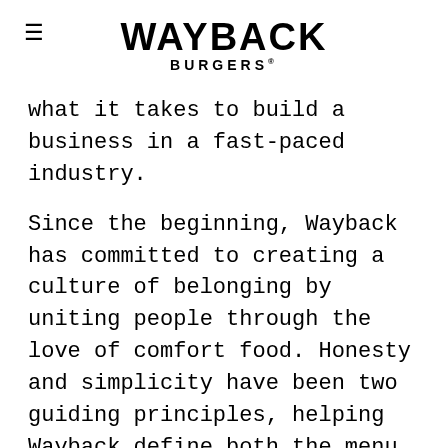WAYBACK BURGERS
what it takes to build a business in a fast-paced industry.
Since the beginning, Wayback has committed to creating a culture of belonging by uniting people through the love of comfort food. Honesty and simplicity have been two guiding principles, helping Wayback define both the menu and approach to business. The result has been consistent year-over-year franchise unit growth, even amidst economic downturns and a pandemic.